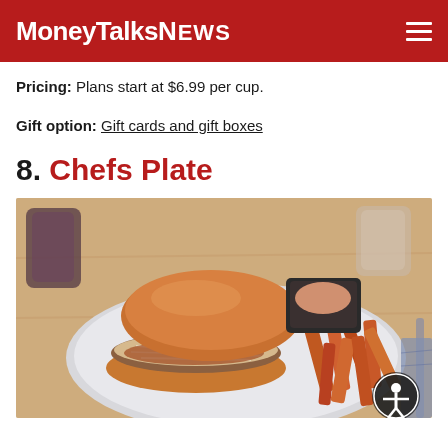MoneyTalksNews
Pricing: Plans start at $6.99 per cup.
Gift option: Gift cards and gift boxes
8. Chefs Plate
[Figure (photo): A plate with a pulled pork or fried chicken sandwich on a brioche bun with coleslaw, served with sweet potato fries, accompanied by a small black dish of dipping sauce, on a light wooden table.]